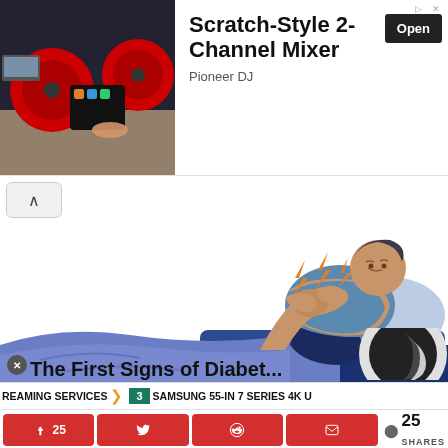[Figure (infographic): Advertisement banner for Pioneer DJ Scratch-Style 2-Channel Mixer with photo of DJ equipment with red turntables on left and text with Open button on right]
Scratch-Style 2-Channel Mixer
Pioneer DJ
[Figure (illustration): Illustration of a person lying in bed holding their leg/knee in pain with orange lightning bolt pain indicators, blue blanket and pillow, medical symptom illustration]
[Figure (infographic): Dark mode moon icon circle graphic in bottom right]
The First Signs of Diabet...
REAMING SERVICES  >  3  SAMSUNG 55-IN 7 SERIES 4K U
[Figure (infographic): Social share bar with Facebook (25), Twitter, Reddit, Email share buttons and total 25 SHARES count]